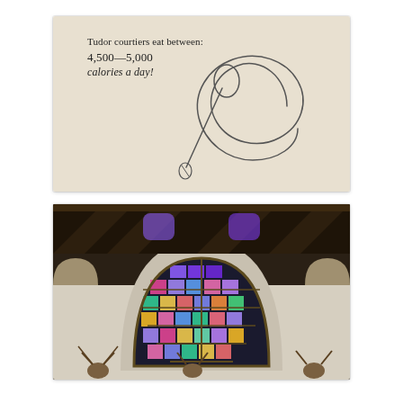[Figure (illustration): Museum display card on parchment-colored background with text reading 'Tudor courtiers eat between: 4,500—5,000 calories a day!' alongside a line drawing of a spoon and a spiral/snail shell shape.]
[Figure (photo): Interior photograph of a great hall (likely Hampton Court Palace) taken from below, showing a large ornate stained glass window with colorful panels set in an arched stone frame, wooden hammer-beam roof structure, white walls, and mounted deer/stag heads along the lower wall.]